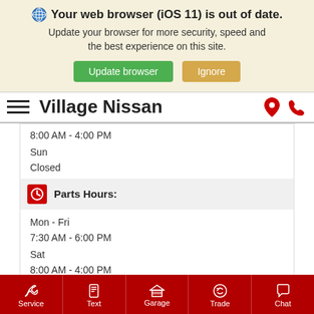[Figure (screenshot): Browser out-of-date warning banner with globe icon, bold title, subtitle text, green Update browser button, and tan Ignore button]
Village Nissan
8:00 AM - 4:00 PM
Sun
Closed
Parts Hours:
Mon - Fri
7:30 AM - 6:00 PM
Sat
8:00 AM - 4:00 PM
Sun
Closed
Service  Text  Garage  Trade  Chat